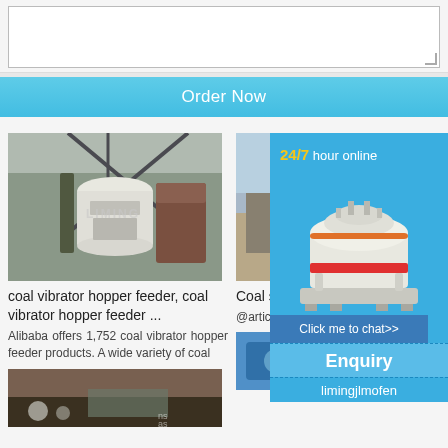[Figure (screenshot): Text input textarea box at top of page]
Order Now
[Figure (photo): Coal vibrator hopper feeder industrial machine in warehouse]
coal vibrator hopper feeder, coal vibrator hopper feeder ...
Alibaba offers 1,752 coal vibrator hopper feeder products. A wide variety of coal
[Figure (photo): Coal or mining material outdoor landscape photo]
[Figure (photo): Coal stone vibrating machine outdoor photo]
Coal sto vibrating (Patent ...
@article{o {Coal stc vibrating
[Figure (photo): Blue industrial machine parts photo]
[Figure (infographic): Blue overlay panel with 24/7 hour online, cone crusher machine image, Click me to chat button, Enquiry section, limingjlmofen text]
24/7 hour online
Click me to chat>>
Enquiry
limingjlmofen